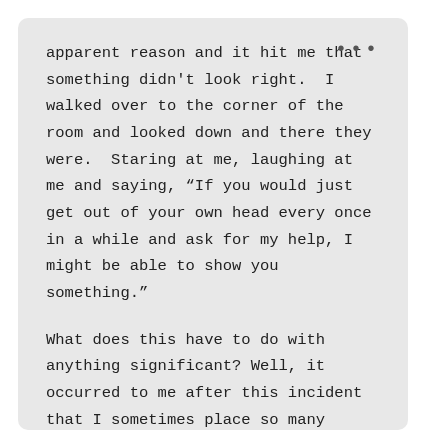apparent reason and it hit me that something didn’t look right.  I walked over to the corner of the room and looked down and there they were.  Staring at me, laughing at me and saying, “If you would just get out of your own head every once in a while and ask for my help, I might be able to show you something.”
What does this have to do with anything significant? Well, it occurred to me after this incident that I sometimes place so many restrictions on myself that I often miss things that